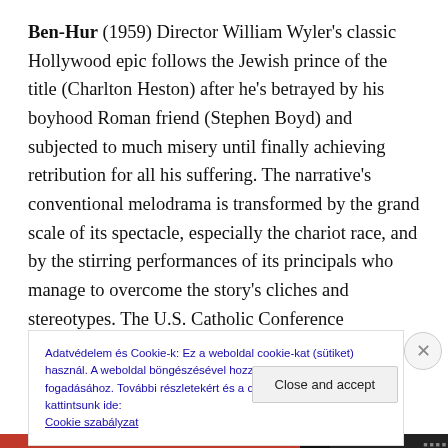Ben-Hur (1959) Director William Wyler's classic Hollywood epic follows the Jewish prince of the title (Charlton Heston) after he's betrayed by his boyhood Roman friend (Stephen Boyd) and subjected to much misery until finally achieving retribution for all his suffering. The narrative's conventional melodrama is transformed by the grand scale of its spectacle, especially the chariot race, and by the stirring performances of its principals who manage to overcome the story's cliches and stereotypes. The U.S. Catholic Conference classification is A-I —
Adatvédelem és Cookie-k: Ez a weboldal cookie-kat (sütiket) használ. A weboldal böngészésével hozzájárulunk a cookie-k fogadásához. További részletekért és a cookie-k szabályozásához kattintsunk ide: Cookie szabályzat